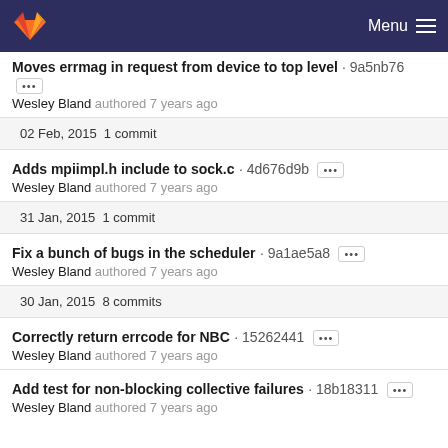GitLab — Menu
Moves errmag in request from device to top level · 9a5nb76 ···
Wesley Bland authored 7 years ago
02 Feb, 2015 1 commit
Adds mpiimpl.h include to sock.c · 4d676d9b ···
Wesley Bland authored 7 years ago
31 Jan, 2015 1 commit
Fix a bunch of bugs in the scheduler · 9a1ae5a8 ···
Wesley Bland authored 7 years ago
30 Jan, 2015 8 commits
Correctly return errcode for NBC · 15262441 ···
Wesley Bland authored 7 years ago
Add test for non-blocking collective failures · 18b18311 ···
Wesley Bland authored 7 years ago